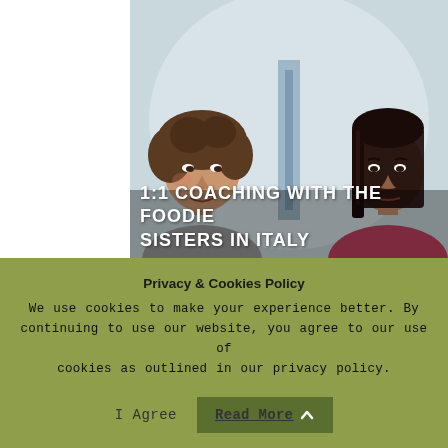[Figure (photo): Two women facing each other in conversation, one with curly hair on the left, one with straight dark hair on the right, against a light blue-grey background. Text overlay reads '1:1 COACHING WITH THE FOODIE SISTERS IN ITALY'.]
You asked us and we did it! Here we are again trying to service you in every possible way! A YouTube
Privacy & Cookies Policy
We use cookies to make your experience better. By continuing to use our website, you agree to our use of cookies as outlined in our privacy policy.
I Agree   Read More